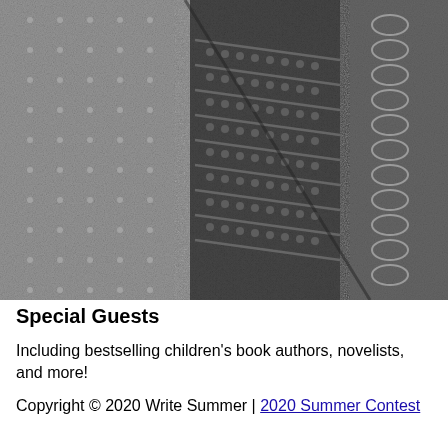[Figure (photo): Close-up black and white photograph of textured fabric or knitted/woven material, showing detailed weave patterns and stitching. The image is grayscale with various shades showing the texture of the material.]
Special Guests
Including bestselling children’s book authors, novelists, and more!
Copyright © 2020 Write Summer | 2020 Summer Contest